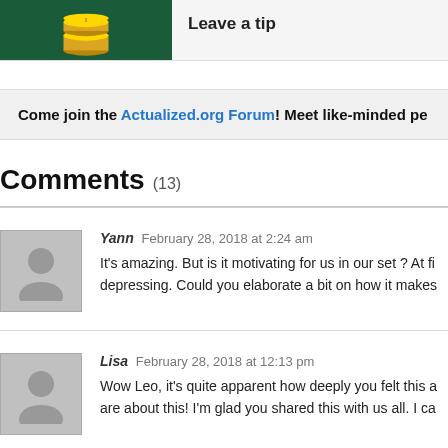[Figure (illustration): Top banner with dark green background showing gold coins image on left, and 'Leave a tip' text on the right on a grey background.]
Come join the Actualized.org Forum! Meet like-minded pe…
Comments (13)
Yann  February 28, 2018 at 2:24 am
It's amazing. But is it motivating for us in our set ? At fi… depressing. Could you elaborate a bit on how it makes…
Lisa  February 28, 2018 at 12:13 pm
Wow Leo, it's quite apparent how deeply you felt this a… are about this! I'm glad you shared this with us all. I ca…